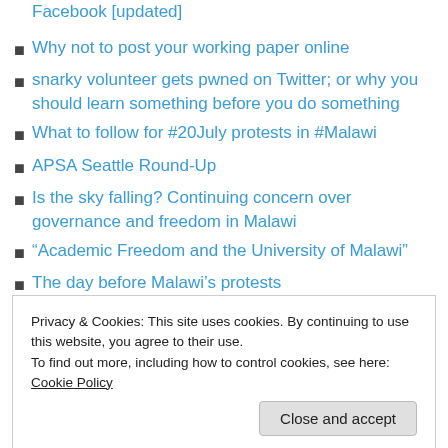Facebook [updated]
Why not to post your working paper online
snarky volunteer gets pwned on Twitter; or why you should learn something before you do something
What to follow for #20July protests in #Malawi
APSA Seattle Round-Up
Is the sky falling? Continuing concern over governance and freedom in Malawi
“Academic Freedom and the University of Malawi”
The day before Malawi’s protests
Privacy & Cookies: This site uses cookies. By continuing to use this website, you agree to their use.
To find out more, including how to control cookies, see here: Cookie Policy
Close and accept
roughly three-and-a-half years of blogging). In 2011 alone,